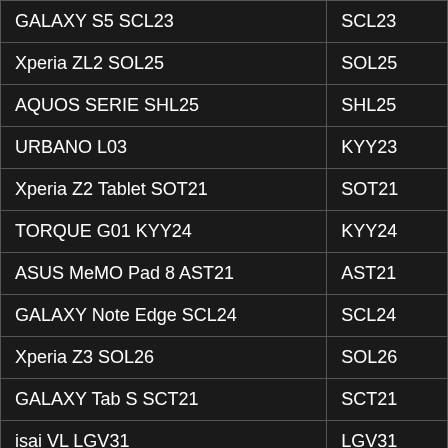| Device Name | Model Code |
| --- | --- |
| GALAXY S5 SCL23 | SCL23 |
| Xperia ZL2 SOL25 | SOL25 |
| AQUOS SERIE SHL25 | SHL25 |
| URBANO L03 | KYY23 |
| Xperia Z2 Tablet SOT21 | SOT21 |
| TORQUE G01 KYY24 | KYY24 |
| ASUS MeMO Pad 8 AST21 | AST21 |
| GALAXY Note Edge SCL24 | SCL24 |
| Xperia Z3 SOL26 | SOL26 |
| GALAXY Tab S SCT21 | SCT21 |
| isai VL LGV31 | LGV31 |
| URBANO V01 | KYV31 |
| AQUOS SERIE mini SHV31 | SHV31 |
| BASIO | KYV32 |